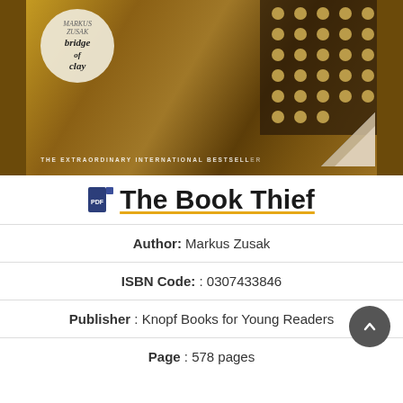[Figure (illustration): Book cover of 'Bridge of Clay' by Markus Zusak with warm brown and golden tones, featuring a circular badge with the text 'bridge of clay', polka-dot pattern on right side, a curled page corner, and tagline 'THE EXTRAORDINARY INTERNATIONAL BESTSELLER']
The Book Thief
Author: Markus Zusak
ISBN Code: : 0307433846
Publisher : Knopf Books for Young Readers
Page : 578 pages